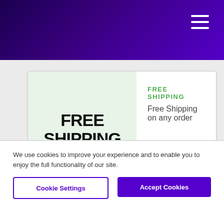[Figure (other): Free Shipping coupon card with light green left panel showing FREE SHIPPING text in bold, and right panel showing FREE SHIPPING in green and description text]
How we help
MYMOVE is here to mitigate moving stress. We can
We use cookies to improve your experience and to enable you to enjoy the full functionality of our site.
Cookie Settings   Accept Cookies